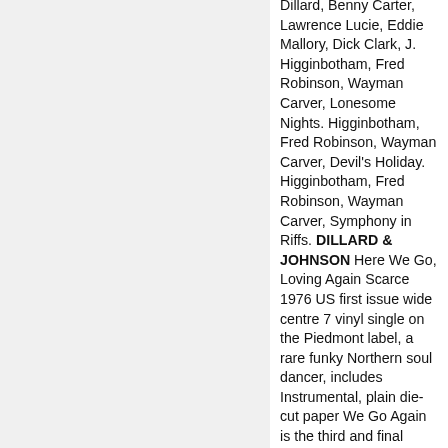Dillard, Benny Carter, Lawrence Lucie, Eddie Mallory, Dick Clark, J. Higginbotham, Fred Robinson, Wayman Carver, Lonesome Nights. Higginbotham, Fred Robinson, Wayman Carver, Devil's Holiday. Higginbotham, Fred Robinson, Wayman Carver, Symphony in Riffs. DILLARD & JOHNSON Here We Go, Loving Again Scarce 1976 US first issue wide centre 7 vinyl single on the Piedmont label, a rare funky Northern soul dancer, includes Instrumental, plain die-cut paper We Go Again is the third and final studio album by rock band SR-71, recorded during 2003 and released on May 21, 2004. It wasn't released outside Japan, although it was available on the band's website through a Japanese import. On November 26, 2010, the album was finally released in the United States, more than six years after its initial release in Japan in May 2004, after being recorded during 2003
Performer